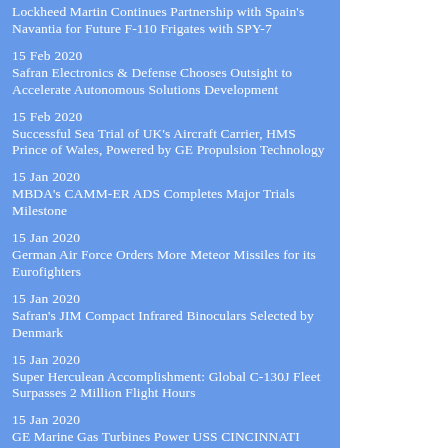Lockheed Martin Continues Partnership with Spain's Navantia for Future F-110 Frigates with SPY-7
15 Feb 2020
Safran Electronics & Defense Chooses Outsight to Accelerate Autonomous Solutions Development
15 Feb 2020
Successful Sea Trial of UK's Aircraft Carrier, HMS Prince of Wales, Powered by GE Propulsion Technology
15 Jan 2020
MBDA's CAMM-ER ADS Completes Major Trials Milestone
15 Jan 2020
German Air Force Orders More Meteor Missiles for its Eurofighters
15 Jan 2020
Safran's JIM Compact Infrared Binoculars Selected by Denmark
15 Jan 2020
Super Herculean Accomplishment: Global C-130J Fleet Surpasses 2 Million Flight Hours
15 Jan 2020
GE Marine Gas Turbines Power USS CINCINNATI Commissioned by United States Navy